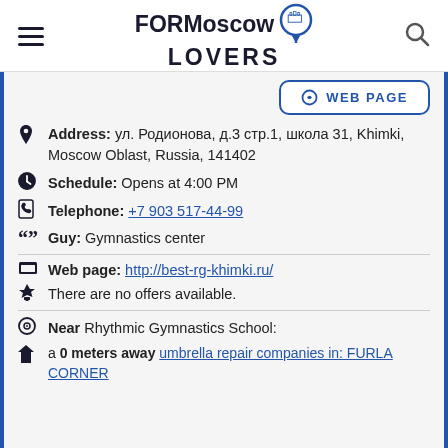FOR Moscow LOVERS
WEB PAGE
Address: ул. Родионова, д.3 стр.1, школа 31, Khimki, Moscow Oblast, Russia, 141402
Schedule: Opens at 4:00 PM
Telephone: +7 903 517-44-99
Guy: Gymnastics center
Web page: http://best-rg-khimki.ru/
There are no offers available.
Near Rhythmic Gymnastics School:
a 0 meters away umbrella repair companies in: FURLA CORNER